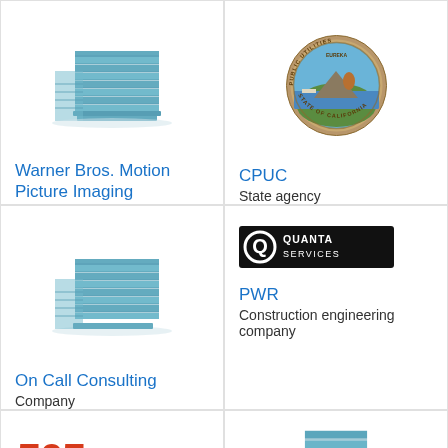[Figure (logo): Generic building/office icon in teal blue]
Warner Bros. Motion Picture Imaging
[Figure (logo): California Public Utilities Commission official seal]
CPUC
State agency
[Figure (logo): Generic building/office icon in teal blue]
On Call Consulting
Company
[Figure (logo): Quanta Services logo — black rectangle with Q and text]
PWR
Construction engineering company
[Figure (logo): 505 Games logo in red/orange]
[Figure (logo): Generic building/office icon in teal blue, partial view]